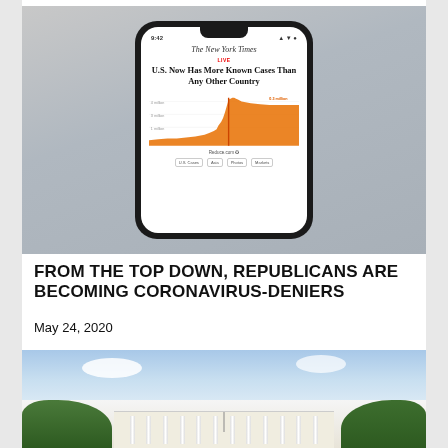[Figure (screenshot): Smartphone showing New York Times app with headline 'U.S. Now Has More Known Cases Than Any Other Country' and an orange area chart of COVID-19 cases, on a gray gradient background]
FROM THE TOP DOWN, REPUBLICANS ARE BECOMING CORONAVIRUS-DENIERS
May 24, 2020
[Figure (photo): Exterior photo of the White House with trees on both sides and blue sky with clouds]